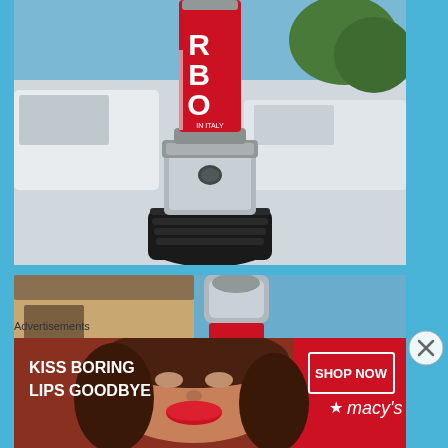[Figure (photo): Close-up photo of a red and chrome turbo antenna or gear shift knob with RBO branding, mounted on a black rubber base, with white vehicles and blue sky in background]
[Figure (photo): Second photo showing chrome and red RBO branded antenna/gear knob with building and blue sky in background]
Advertisements
[Figure (photo): Advertisement banner: KISS BORING LIPS GOODBYE - SHOP NOW - Macy's, showing woman with red lips]